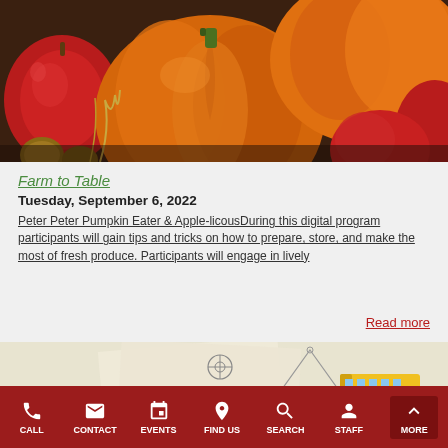[Figure (photo): Overhead photo of fall produce — pumpkins, red apples, walnuts, and wheat stalks on a dark wooden surface]
Farm to Table
Tuesday, September 6, 2022
Peter Peter Pumpkin Eater & Apple-licousDuring this digital program participants will gain tips and tricks on how to prepare, store, and make the most of fresh produce. Participants will engage in lively
Read more
[Figure (photo): Educational items including a globe, a yellow school bus, scientific diagrams and papers]
CALL   CONTACT   EVENTS   FIND US   SEARCH   STAFF   MORE